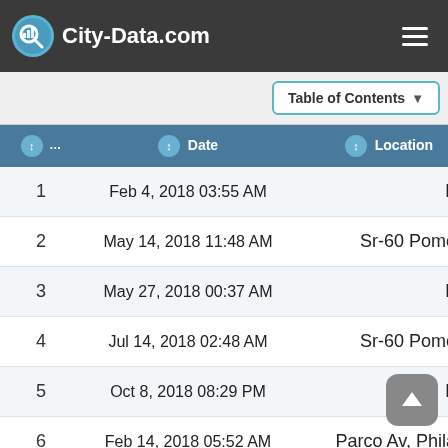City-Data.com
| # | Date | Location |
| --- | --- | --- |
| 1 | Feb 4, 2018 03:55 AM | I-15 |
| 2 | May 14, 2018 11:48 AM | Sr-60 Pomona |
| 3 | May 27, 2018 00:37 AM | I-15 |
| 4 | Jul 14, 2018 02:48 AM | Sr-60 Pomona |
| 5 | Oct 8, 2018 08:29 PM | I-10 |
| 6 | Feb 14, 2018 05:52 AM | Parco Av, Philade |
| 7 | Feb 9, 2018 06:36 AM | Ba... Ave |
| 8 | Dec 29, 2018 08:39 PM | Sr-60, Archibald |